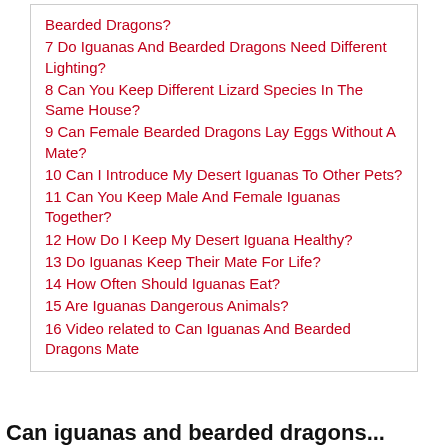Bearded Dragons?
7 Do Iguanas And Bearded Dragons Need Different Lighting?
8 Can You Keep Different Lizard Species In The Same House?
9 Can Female Bearded Dragons Lay Eggs Without A Mate?
10 Can I Introduce My Desert Iguanas To Other Pets?
11 Can You Keep Male And Female Iguanas Together?
12 How Do I Keep My Desert Iguana Healthy?
13 Do Iguanas Keep Their Mate For Life?
14 How Often Should Iguanas Eat?
15 Are Iguanas Dangerous Animals?
16 Video related to Can Iguanas And Bearded Dragons Mate
Can iguanas and bearded dragons...